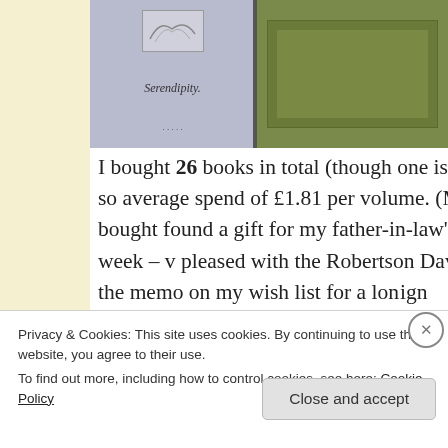[Figure (photo): Three book images in a horizontal strip at the top. Left image shows a book cover with 'Serendipity.' handwritten text on a pale purple/grey cover. Middle image shows a green/olive colored painting or cover. Right image is partially visible and dark.]
I bought 26 books in total (though one is an omnibus, so average spend of £1.81 per volume. (My husband bought found a gift for my father-in-law's birthday next week – v pleased with the Robertson Davies novels and the memo on my wish list for a long time. My interests in animals p themes come through clearly. Some authors here I've nev meaning to; others are familiar names I was interested t ign
Privacy & Cookies: This site uses cookies. By continuing to use this website, you agree to their use.
To find out more, including how to control cookies, see here: Cookie Policy
Close and accept